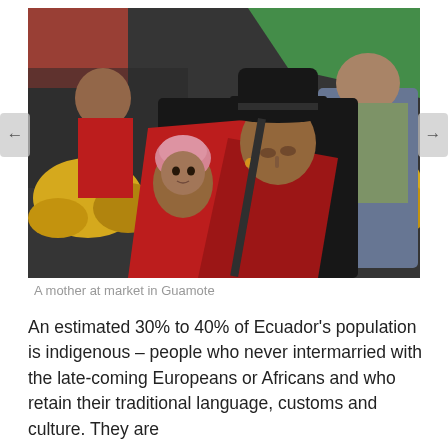[Figure (photo): A mother carrying a baby on her back at a colorful outdoor market in Guamote, Ecuador. The mother wears a dark hat and red shawl; the baby wears a pink bonnet. Background shows market stalls with yellow fruits and other vendors.]
A mother at market in Guamote
An estimated 30% to 40% of Ecuador's population is indigenous – people who never intermarried with the late-coming Europeans or Africans and who retain their traditional language, customs and culture. They are